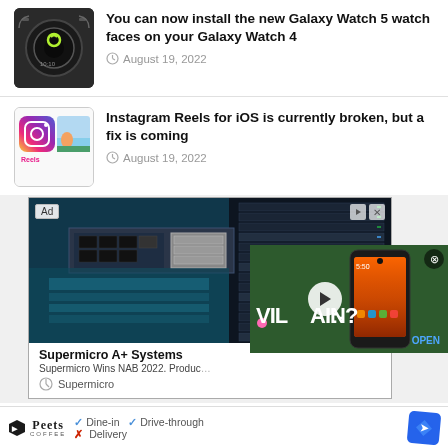[Figure (photo): Galaxy Watch thumbnail - dark smartwatch with green circular design on rocky surface]
You can now install the new Galaxy Watch 5 watch faces on your Galaxy Watch 4
August 19, 2022
[Figure (photo): Instagram Reels thumbnail - Instagram logo with colorful image]
Instagram Reels for iOS is currently broken, but a fix is coming
August 19, 2022
[Figure (photo): Advertisement banner: Supermicro A+ Systems server rack image. Ad label visible top-left. Shows Supermicro Wins NAB 2022. Product text partially visible.]
[Figure (photo): Video overlay showing a smartphone and text VILLAIN? with OPEN button in blue]
[Figure (photo): Peet's Coffee advertisement at bottom: Dine-in, Drive-through, Delivery options with map navigation icon]